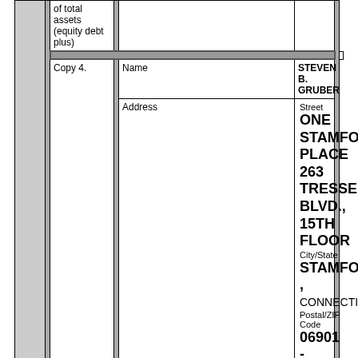| of total assets (equity debt plus) |  |  |
| Copy 4. | Name | STEVEN B. GRUBER |
|  | Address | Street
ONE STAMFORD PLACE
263 TRESSER BLVD., 15TH FLOOR
City/State
STAMFORD , CONNECTICUT
Postal/ZIP Code
06901 -
Country (if not U.S.) |
|  | Listing Type | ○ Respondent
● Other Interest Holder |
|  | Relationship to Licensee | ○ Licensee (or Officer/Director of Licensee)
● Person with attributable interest
○ Entity with attributable interest |
|  | Positional Interest (Check all that apply) | ☑ Officer
☐ Director
☐ General Partner |